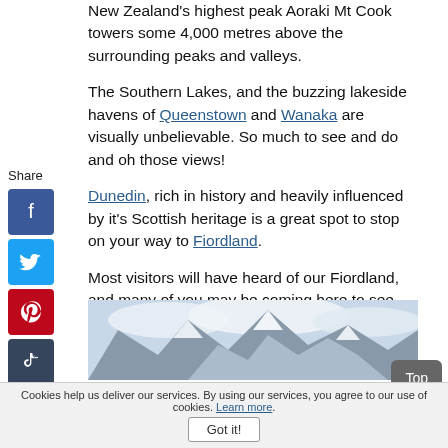New Zealand's highest peak Aoraki Mt Cook towers some 4,000 metres above the surrounding peaks and valleys.
The Southern Lakes, and the buzzing lakeside havens of Queenstown and Wanaka are visually unbelievable. So much to see and do and oh those views!
Dunedin, rich in history and heavily influenced by it's Scottish heritage is a great spot to stop on your way to Fiordland.
Most visitors will have heard of our Fiordland, and many of you may be coming here to see the twin sounds, Milford and Doubtful. And if you are, you will not be disappointed.
[Figure (photo): Mountain landscape photo showing snowy peaks and sky, partially visible at bottom of page]
Cookies help us deliver our services. By using our services, you agree to our use of cookies. Learn more.
Got it!